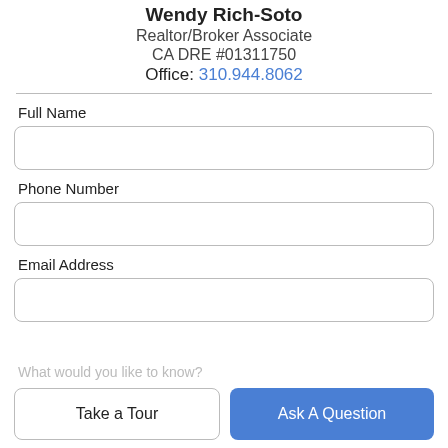Wendy Rich-Soto
Realtor/Broker Associate
CA DRE #01311750
Office: 310.944.8062
Full Name
Phone Number
Email Address
What would you like to know?
Take a Tour
Ask A Question